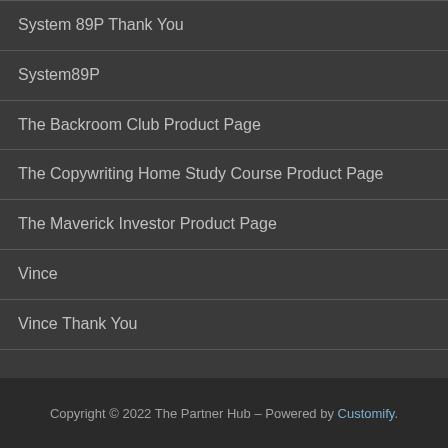System 89P Thank You
System89P
The Backroom Club Product Page
The Copywriting Home Study Course Product Page
The Maverick Investor Product Page
Vince
Vince Thank You
Copyright © 2022 The Partner Hub – Powered by Customify.